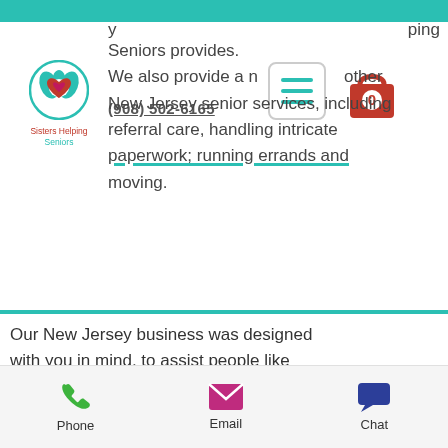Sisters Helping Seniors - (908) 502-6165
[Figure (logo): Sisters Helping Seniors circular logo with teal border and red heart icon]
Seniors provides. We also provide a number of other New Jersey senior services, including referral care, handling intricate paperwork; running errands and moving.
Our New Jersey business was designed with you in mind, to assist people like you who have been impacted by a loved one diagnosed with Alzheimer's, dementia or senility. Our business is not limited to just that however, we at Sisters Helping Seniors have over 35 years combined experience working with New Jersey seniors.
Phone  Email  Chat